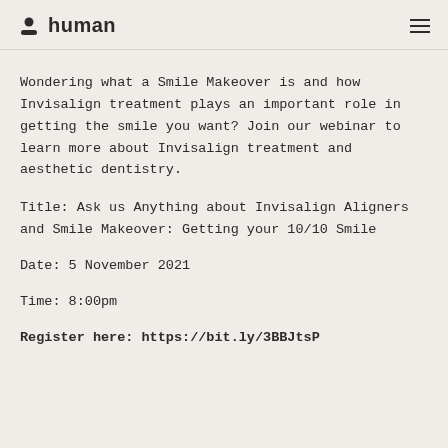human
Wondering what a Smile Makeover is and how Invisalign treatment plays an important role in getting the smile you want? Join our webinar to learn more about Invisalign treatment and aesthetic dentistry.
Title: Ask us Anything about Invisalign Aligners and Smile Makeover: Getting your 10/10 Smile
Date: 5 November 2021
Time: 8:00pm
Register here: https://bit.ly/3BBJtsP